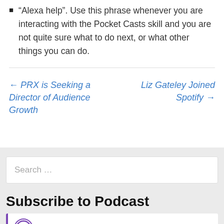“Alexa help”. Use this phrase whenever you are interacting with the Pocket Casts skill and you are not quite sure what to do next, or what other things you can do.
← PRX is Seeking a Director of Audience Growth    Liz Gateley Joined Spotify →
Search …
Subscribe to Podcast
Apple Podcasts